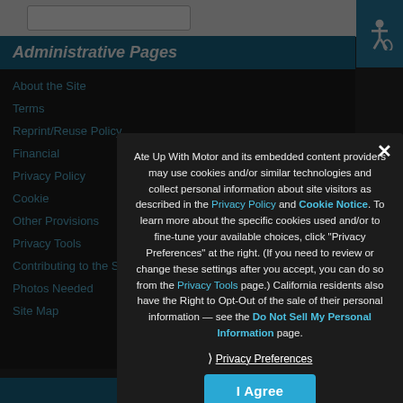Administrative Pages
About the Site
Terms
Reprint/Reuse Policy
Financial
Privacy Policy
Cookie
Other Provisions
Privacy Tools
Contributing to the Site
Photos Needed
Site Map
Ate Up With Motor and its embedded content providers may use cookies and/or similar technologies and collect personal information about site visitors as described in the Privacy Policy and Cookie Notice. To learn more about the specific cookies used and/or to fine-tune your available choices, click "Privacy Preferences" at the right. (If you need to review or change these settings after you accept, you can do so from the Privacy Tools page.) California residents also have the Right to Opt-Out of the sale of their personal information — see the Do Not Sell My Personal Information page.
❯ Privacy Preferences
I Agree